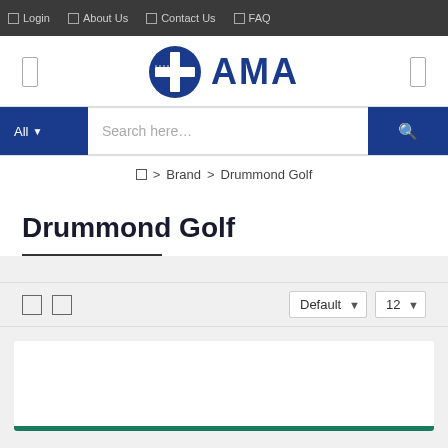Login | About Us | Contact Us | FAQ
[Figure (logo): AMA logo with blue medical cross symbol and blue AMA text]
Search here...
Home > Brand > Drummond Golf
Drummond Golf
Default | 12